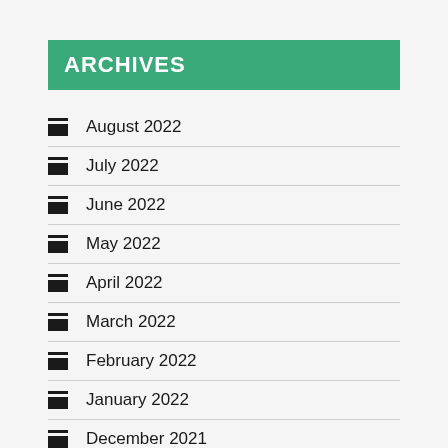ARCHIVES
August 2022
July 2022
June 2022
May 2022
April 2022
March 2022
February 2022
January 2022
December 2021